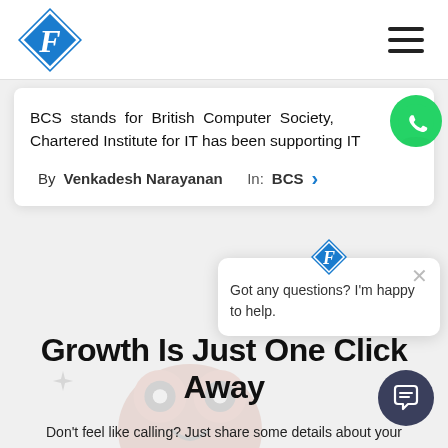BCS stands for British Computer Society, Chartered Institute for IT has been supporting IT
By Venkadesh Narayanan    In: BCS
Got any questions? I'm happy to help.
Growth Is Just One Click Away
Don't feel like calling? Just share some details about your